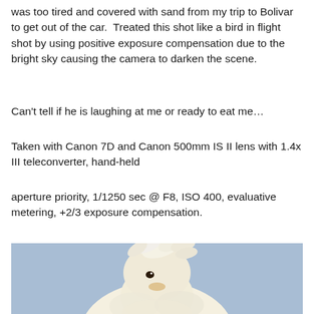was too tired and covered with sand from my trip to Bolivar to get out of the car.  Treated this shot like a bird in flight shot by using positive exposure compensation due to the bright sky causing the camera to darken the scene.
Can't tell if he is laughing at me or ready to eat me…
Taken with Canon 7D and Canon 500mm IS II lens with 1.4x III teleconverter, hand-held
aperture priority, 1/1250 sec @ F8, ISO 400, evaluative metering, +2/3 exposure compensation.
[Figure (photo): Photo of a fluffy white bird (pelican or similar) with wind-blown feathers on its head against a light blue sky background. Only the head and top of the body are visible, cropped at the bottom of the page.]